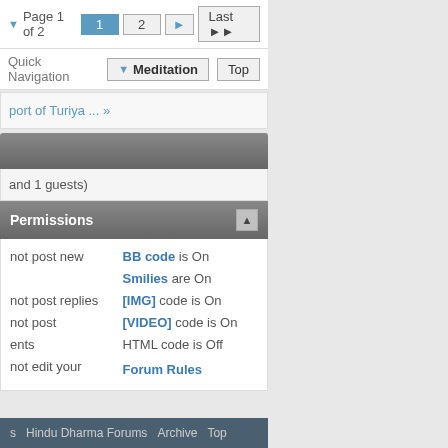Page 1 of 2  1  2  Last
Quick Navigation  Meditation  Top
port of Turiya ... »
and 1 guests)
Permissions
not post new
not post replies
not post
ents
not edit your
BB code is On
Smilies are On
[IMG] code is On
[VIDEO] code is On
HTML code is Off
Forum Rules
s  Hindu Dharma Forums  Archive  Top